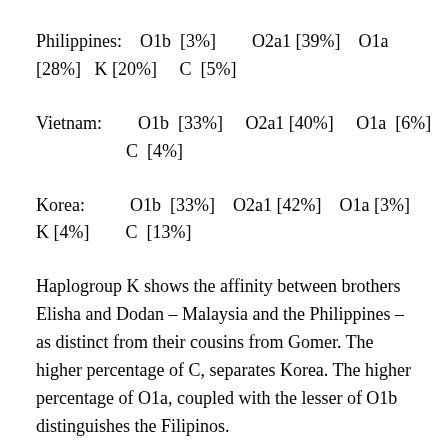Philippines:    O1b  [3%]       O2a1 [39%]    O1a [28%]   K [20%]     C  [5%]
Vietnam:        O1b  [33%]     O2a1 [40%]    O1a  [6%]            C  [4%]
Korea:           O1b  [33%]    O2a1 [42%]    O1a [3%]   K [4%]        C  [13%]
Haplogroup K shows the affinity between brothers Elisha and Dodan – Malaysia and the Philippines – as distinct from their cousins from Gomer. The higher percentage of C, separates Korea. The higher percentage of O1a, coupled with the lesser of O1b distinguishes the Filipinos.